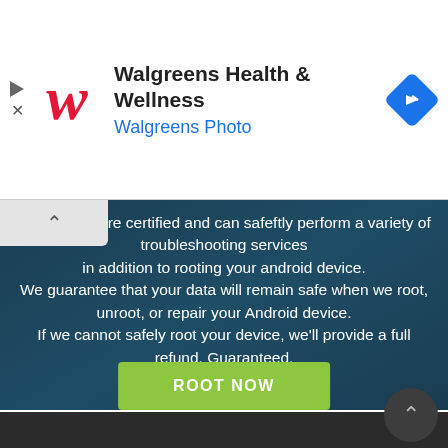[Figure (screenshot): Walgreens Health & Wellness advertisement banner with Walgreens logo (red cursive W), title text, blue subtitle 'Walgreens Photo', and blue navigation diamond icon on the right]
technicians are certified and can safeftly perform a variety of troubleshooting services in addition to rooting your android device. We guarantee that your data will remain safe when we root, unroot, or repair your Android device. If we cannot safely root your device, we'll provide a full refund. Guaranteed.
ROOT NOW